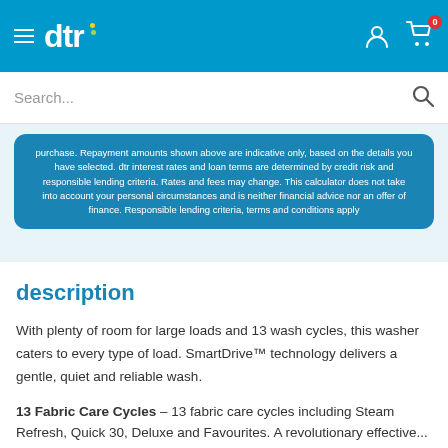[Figure (logo): DTR website header with blue background, hamburger menu, DTR logo with yellow and green dots, user icon, and cart icon with badge showing 0]
Search...
purchase. Repayment amounts shown above are indicative only, based on the details you have selected. dtr interest rates and loan terms are determined by credit risk and responsible lending criteria. Rates and fees may change. This calculator does not take into account your personal circumstances and is neither financial advice nor an offer of finance. Responsible lending criteria, terms and conditions apply
description
With plenty of room for large loads and 13 wash cycles, this washer caters to every type of load. SmartDrive™ technology delivers a gentle, quiet and reliable wash.
13 Fabric Care Cycles – 13 fabric care cycles including Steam Refresh, Quick 30, Deluxe and Favourites. A revolutionary effective...